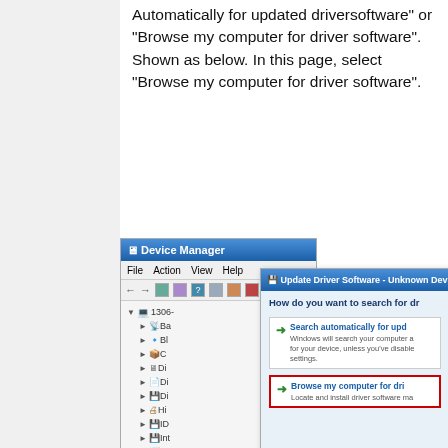Automatically for updated driversoftware" or "Browse my computer for driver software". Shown as below. In this page, select "Browse my computer for driver software".
[Figure (screenshot): Windows Device Manager window with an overlay Update Driver Software dialog. The dialog shows two options: 'Search automatically for updated driver software' and 'Browse my computer for driver software' (highlighted with a red border). The Device Manager shows a tree of devices.]